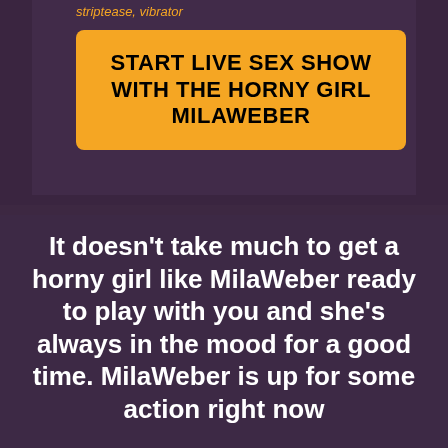striptease, vibrator
START LIVE SEX SHOW WITH THE HORNY GIRL MILAWEBER
It doesn’t take much to get a horny girl like MilaWeber ready to play with you and she’s always in the mood for a good time. MilaWeber is up for some action right now